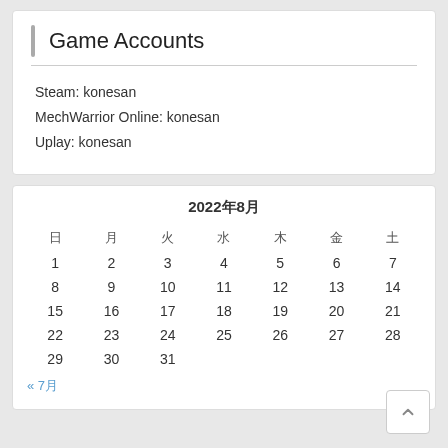Game Accounts
Steam: konesan
MechWarrior Online: konesan
Uplay: konesan
| 日 | 月 | 火 | 水 | 木 | 金 | 土 |
| --- | --- | --- | --- | --- | --- | --- |
| 1 | 2 | 3 | 4 | 5 | 6 | 7 |
| 8 | 9 | 10 | 11 | 12 | 13 | 14 |
| 15 | 16 | 17 | 18 | 19 | 20 | 21 |
| 22 | 23 | 24 | 25 | 26 | 27 | 28 |
| 29 | 30 | 31 |  |  |  |  |
« 7月